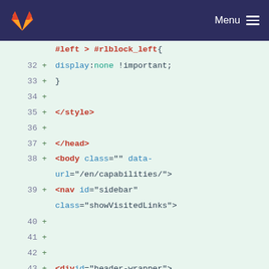GitLab — Menu
[Figure (screenshot): Code diff view showing HTML/CSS lines 32-49 with green background and line numbers, plus signs for additions]
#left > #rlblock_left{
32  +         display:none !important;
33  +     }
34  +
35  +     </style>
36  +
37  +   </head>
38  +   <body class="" data-url="/en/capabilities/">
39  +     <nav id="sidebar" class="showVisitedLinks">
40  +
41  +
42  +
43  +   <div id="header-wrapper">
44  +     <div id="header">
45  +       <!DOCTYPE html>
46  + <html lang="en">
47  + <head>
48  +     <meta charset="UTF-8">
49  + <title>Title</title>